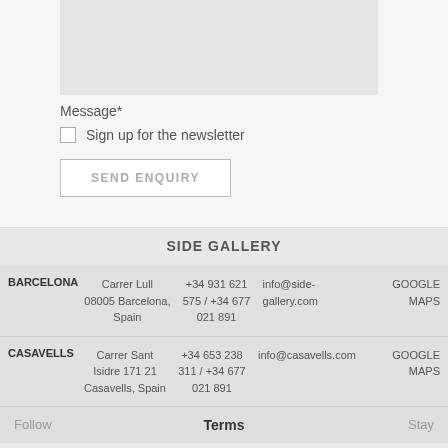[Figure (other): Grey textarea input field (form element mock)]
Message*
Sign up for the newsletter
SEND ENQUIRY
SIDE GALLERY
BARCELONA  Carrer Lull 08005 Barcelona, Spain  +34 931 621 575 / +34 677 021 891  info@side-gallery.com  GOOGLE MAPS
CASAVELLS  Carrer Sant Isidre 171 21 Casavells, Spain  +34 653 238 311 / +34 677 021 891  info@casavells.com  GOOGLE MAPS
Follow
Terms
Stay